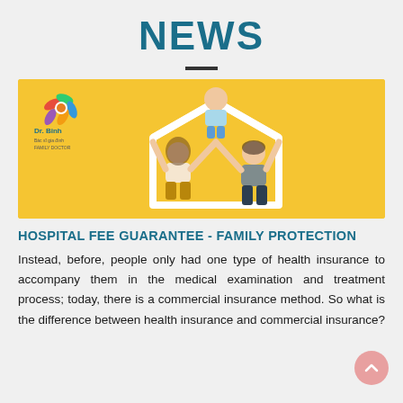NEWS
[Figure (photo): Yellow background photo of a family – mother, father, and child – holding up a house-shaped frame made of white cardboard. Dr. Binh clinic logo in top-left corner.]
HOSPITAL FEE GUARANTEE - FAMILY PROTECTION
Instead, before, people only had one type of health insurance to accompany them in the medical examination and treatment process; today, there is a commercial insurance method. So what is the difference between health insurance and commercial insurance?